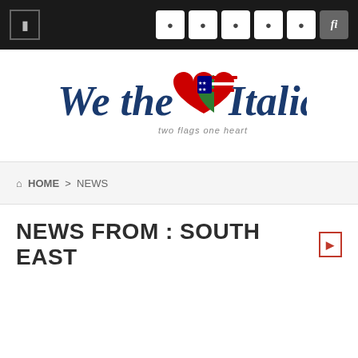Navigation bar with menu icon and social/utility icons
[Figure (logo): We the Italians logo — stylized text with a heart shaped flag (American and Italian colors), tagline: two flags one heart]
HOME > NEWS
NEWS FROM : SOUTH EAST